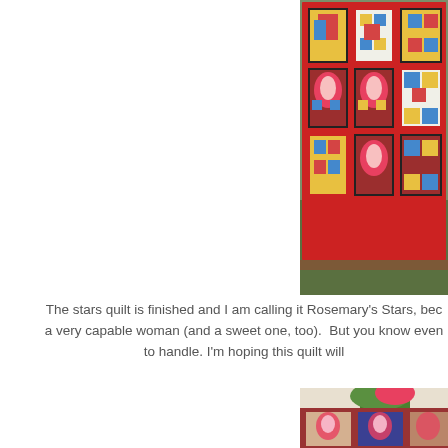[Figure (photo): A colorful patchwork quilt with red borders, floral and geometric fabric squares in blue, gold, red, and multicolor patterns, displayed hanging outdoors against a garden background.]
The stars quilt is finished and I am calling it Rosemary's Stars, bec a very capable woman (and a sweet one, too). But you know even to handle. I'm hoping this quilt will
[Figure (photo): Partial view of another quilt with floral fabric panels in dark red/maroon borders with colorful floral prints, displayed outdoors.]